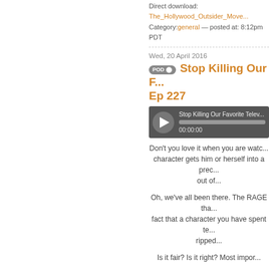Direct download: The_Hollywood_Outsider_Move...
Category: general — posted at: 8:12pm PDT
[Figure (other): Horizontal dashed separator line]
Wed, 20 April 2016
Stop Killing Our F... Ep 227
[Figure (screenshot): Audio player bar showing 'Stop Killing Our Favorite Telev...' with play button, progress bar, and time 00:00:00]
Don't you love it when you are watc... character gets him or herself into a prec... out of...
Oh, we've all been there. The RAGE tha... fact that a character you have spent te... ripped...
Is it fair? Is it right? Most impor...
This is our topic this week as we discu... beloved characters. Not only are they ki...
Join in on our conversation and liste...
Discussed on this episode of The Holl...
(0:00 – 25:18) Movie and TV Ne... Russell reunite, Willem Dafoe jo... on the Train and The Magnifcen...
(25:19 – 1:03:57) From The Out... main characters? | Listener topi...
(1:03:58 – 1:32:26) What's This... New Releases: The Huntsman...